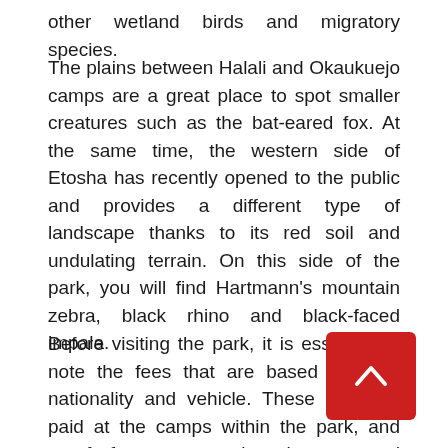other wetland birds and migratory species.
The plains between Halali and Okaukuejo camps are a great place to spot smaller creatures such as the bat-eared fox. At the same time, the western side of Etosha has recently opened to the public and provides a different type of landscape thanks to its red soil and undulating terrain. On this side of the park, you will find Hartmann’s mountain zebra, black rhino and black-faced impala.
Before visiting the park, it is essential to note the fees that are based on your nationality and vehicle. These fees are paid at the camps within the park, and proof of payment needs to be presented when exiting.